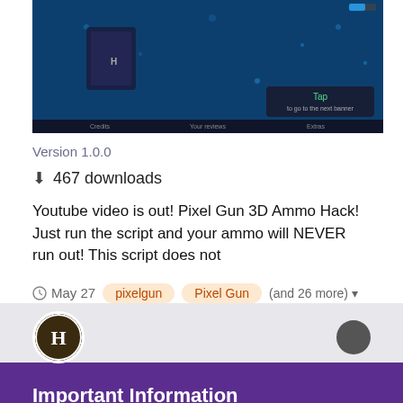[Figure (screenshot): Game screenshot showing a dark blue underwater or space scene with a character/item. A 'Tap to go to the next banner' prompt is visible at the bottom.]
Version 1.0.0
467 downloads
Youtube video is out! Pixel Gun 3D Ammo Hack! Just run the script and your ammo will NEVER run out! This script does not
May 27   pixelgun   Pixel Gun   (and 26 more)
[Figure (photo): User avatar circle with a stylized H letter logo on dark background]
Important Information
We have placed cookies on your device to help make this website better. You can adjust your cookie settings, otherwise we'll assume you're okay to continue.
✓  I accept